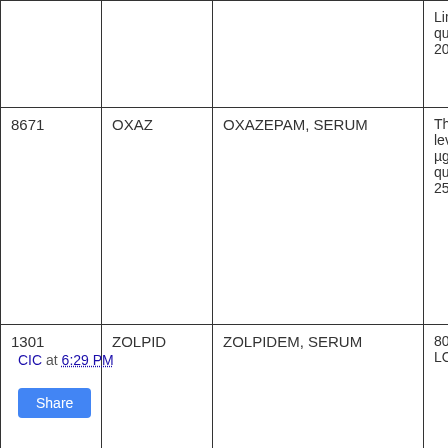|  |  |  |  |
| --- | --- | --- | --- |
|  |  |  | Limit of quantification: 20 µg/L |
| 8671 | OXAZ | OXAZEPAM, SERUM | Therapeutic level: 1500 µg/L   Limit of quantification: 25 |
| 1301 | ZOLPID | ZOLPIDEM, SERUM | 80 - 150 µg/L LOQ: 12 µg/L |
CIC at 6:29 PM